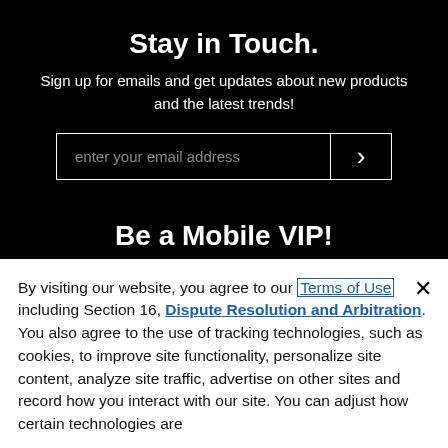Stay in Touch.
Sign up for emails and get updates about new products and the latest trends!
[Figure (screenshot): Email signup input field with placeholder text 'enter your email address' and a right-arrow submit button, on black background]
Be a Mobile VIP!
Sign up for texts and be the first to know about upcoming sales and great offers
By visiting our website, you agree to our Terms of Use including Section 16, Dispute Resolution and Arbitration. You also agree to the use of tracking technologies, such as cookies, to improve site functionality, personalize site content, analyze site traffic, advertise on other sites and record how you interact with our site. You can adjust how certain technologies are